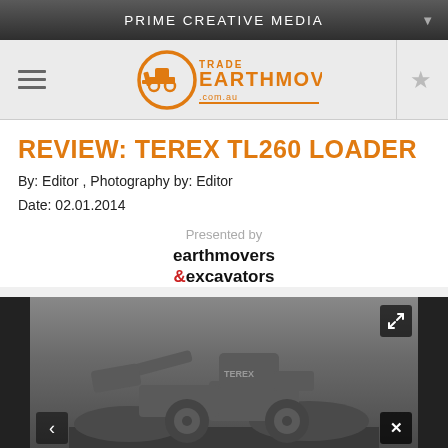PRIME CREATIVE MEDIA
[Figure (logo): Trade Earthmovers logo with bulldozer icon in orange circle, orange text EARTHMOVERS on right, small .com.au below]
REVIEW: TEREX TL260 LOADER
By: Editor , Photography by: Editor
Date: 02.01.2014
Presented by earthmovers &excavators
[Figure (photo): Terex TL260 wheel loader photographed outdoors on a worksite, dark grey moody sky background, machine faces left, expand icon top right, X close button bottom right, left navigation arrow bottom left]